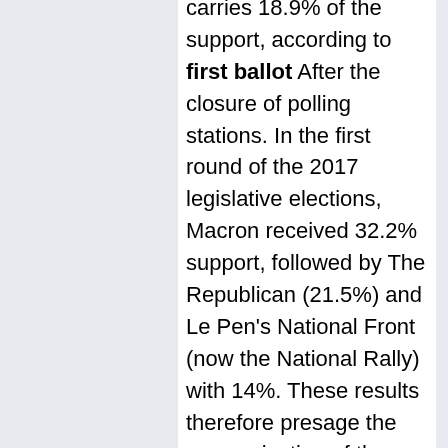carries 18.9% of the support, according to first ballot After the closure of polling stations. In the first round of the 2017 legislative elections, Macron received 32.2% support, followed by The Republican (21.5%) and Le Pen's National Front (now the National Rally) with 14%. These results therefore presage the reorganization of the French political board.
According to these first estimates, Macron's coalition would receive between 275 and 310 delegates and Mlenchon between 180 and 210. Following Le Pen's ranks, the Republican Party won 13.7% of the vote and the Reconquista, Zemour, with 3.9% of the